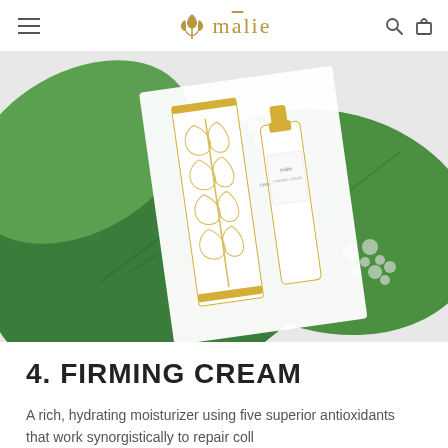mālie
[Figure (photo): Overhead flat-lay photo of Mālie Firming Cream product — a white tube and a white box with gold botanical leaf pattern — placed on top of large green tropical leaves with crushed ice/salt crystals in the background.]
4. FIRMING CREAM
A rich, hydrating moisturizer using five superior antioxidants that work synorgistically to repair coll